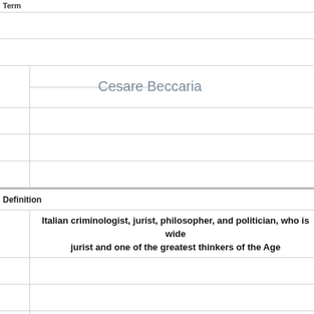Term
Cesare Beccaria
Definition
Italian criminologist, jurist, philosopher, and politician, who is widely considered as the greatest jurist and one of the greatest thinkers of the Age of Enlightenment.